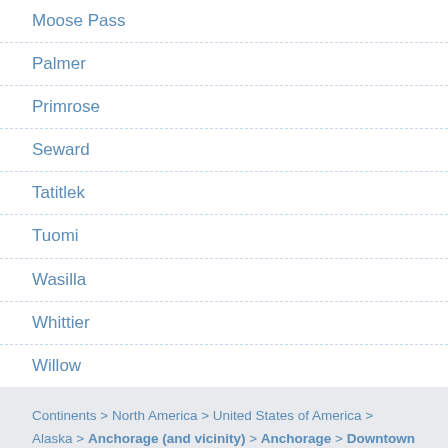Moose Pass
Palmer
Primrose
Seward
Tatitlek
Tuomi
Wasilla
Whittier
Willow
Continents > North America > United States of America > Alaska > Anchorage (and vicinity) > Anchorage > Downtown Anchorage > Ulu Factory >